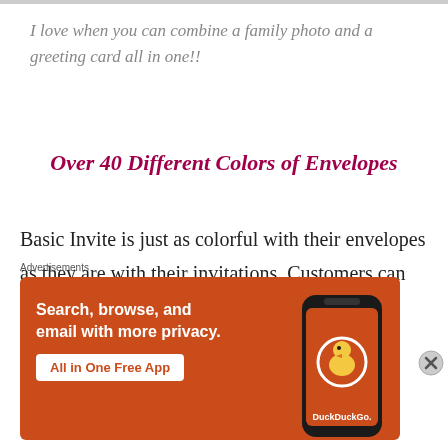I love when you can combine a family photo and a greeting card all in one!!
Over 40 Different Colors of Envelopes
Basic Invite is just as colorful with their envelopes as they are with their invitations. Customers can choose from over 40 different colors when it comes to their envelopes so that they can
Advertisements
[Figure (screenshot): DuckDuckGo advertisement banner with orange background showing 'Search, browse, and email with more privacy. All in One Free App' and a smartphone with DuckDuckGo logo]